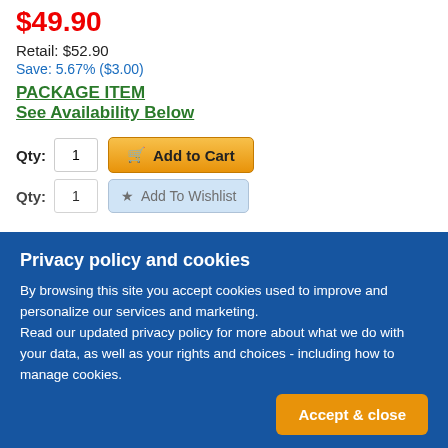$49.90
Retail: $52.90
Save: 5.67% ($3.00)
PACKAGE ITEM
See Availability Below
Qty: 1  Add to Cart
Qty: 1  Add To Wishlist
Privacy policy and cookies
By browsing this site you accept cookies used to improve and personalize our services and marketing.
Read our updated privacy policy for more about what we do with your data, as well as your rights and choices - including how to manage cookies.
Accept & close